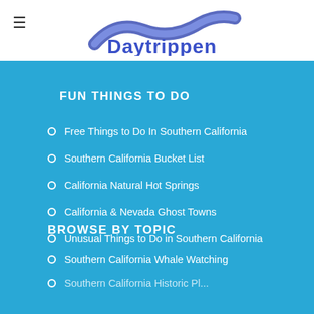Daytrippen — YOUR TRIP STARTS HERE
FUN THINGS TO DO
Free Things to Do In Southern California
Southern California Bucket List
California Natural Hot Springs
California & Nevada Ghost Towns
Unusual Things to Do in Southern California
BROWSE BY TOPIC
Southern California Whale Watching
Southern California Historic Pl...